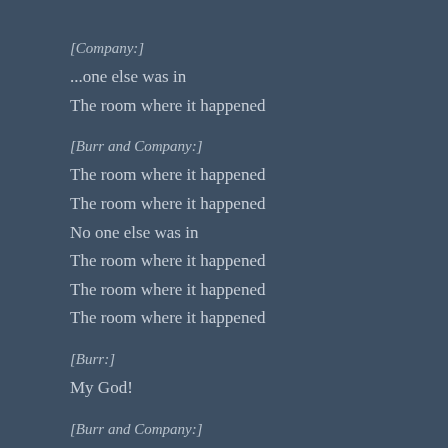[Company:]
...one else was in
The room where it happened
[Burr and Company:]
The room where it happened
The room where it happened
No one else was in
The room where it happened
The room where it happened
The room where it happened
[Burr:]
My God!
[Burr and Company:]